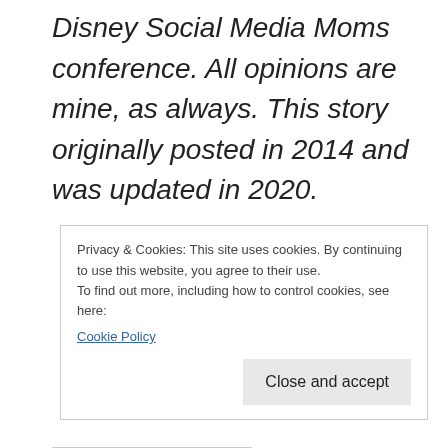Disney Social Media Moms conference. All opinions are mine, as always. This story originally posted in 2014 and was updated in 2020.
Privacy & Cookies: This site uses cookies. By continuing to use this website, you agree to their use.
To find out more, including how to control cookies, see here:
Cookie Policy
Close and accept